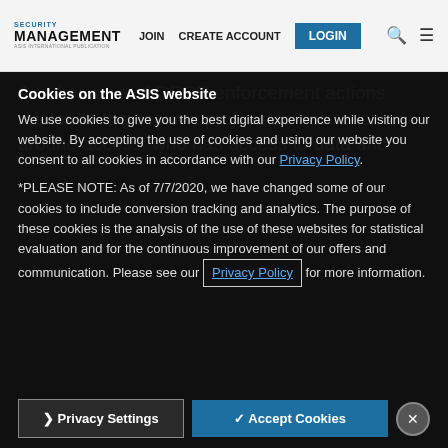SECURITY MANAGEMENT | JOIN | CREATE ACCOUNT | LOGIN
Another area of GDPR enforcement actions related to the security profession has revolved around access: who has access to data and images. For instance, before the United Kingdom left the European Union, its data protection agency...
Cookies on the ASIS website
We use cookies to give you the best digital experience while visiting our website. By accepting the use of cookies and using our website you consent to all cookies in accordance with our Privacy Policy.
*PLEASE NOTE: As of 7/7/2020, we have changed some of our cookies to include conversion tracking and analytics. The purpose of these cookies is the analysis of the use of these websites for statistical evaluation and for the continuous improvement of our offers and communication. Please see our Privacy Policy for more information.
Privacy Settings | Accept Cookies